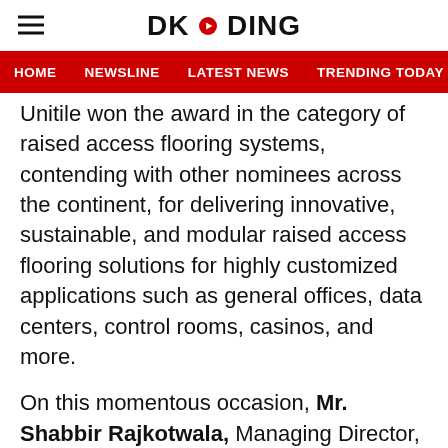DKODING
HOME  NEWSLINE  LATEST NEWS  TRENDING TODAY  ENT
Unitile won the award in the category of raised access flooring systems, contending with other nominees across the continent, for delivering innovative, sustainable, and modular raised access flooring solutions for highly customized applications such as general offices, data centers, control rooms, casinos, and more.
On this momentous occasion, Mr. Shabbir Rajkotwala, Managing Director, Unitile said, “I would like to thank BARC for this esteemed award. This is a milestone in our journey and we recognize this as a shared success with our team, partners, and customers in our